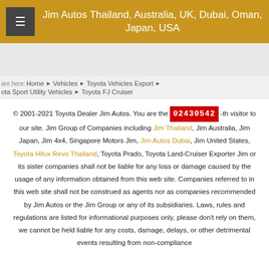Jim Autos Thailand, Australia, UK, Dubai, Oman, Japan, USA
are here: Home ▶ Vehicles ▶ Toyota Vehicles Export ▶ Toyota Sport Utility Vehicles ▶ Toyota FJ Cruiser
© 2001-2021 Toyota Dealer Jim Autos. You are the 02430542 -th visitor to our site. Jim Group of Companies including Jim Thailand, Jim Australia, Jim Japan, Jim 4x4, Singapore Motors Jim, Jim Autos Dubai, Jim United States, Toyota Hilux Revo Thailand, Toyota Prado, Toyota Land-Cruiser Exporter Jim or its sister companies shall not be liable for any loss or damage caused by the usage of any information obtained from this web site. Companies referred to in this web site shall not be construed as agents nor as companies recommended by Jim Autos or the Jim Group or any of its subsidiaries. Laws, rules and regulations are listed for informational purposes only, please don't rely on them, we cannot be held liable for any costs, damage, delays, or other detrimental events resulting from non-compliance